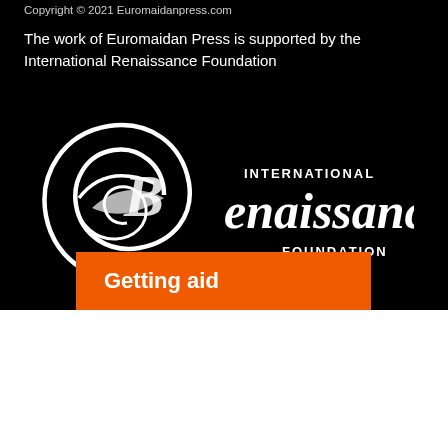Copyright © 2021 Euromaidanpress.com
The work of Euromaidan Press is supported by the International Renaissance Foundation
[Figure (logo): International Renaissance Foundation logo — white cursive text on black background with a spiral graphic element]
Getting aid